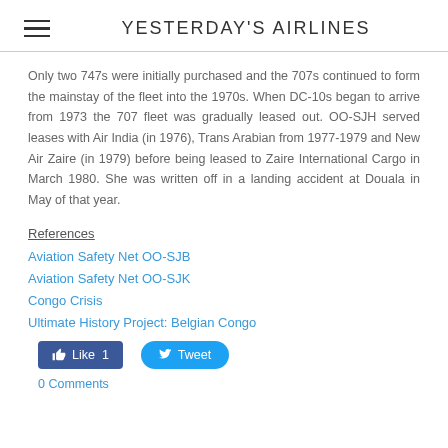YESTERDAY'S AIRLINES
Only two 747s were initially purchased and the 707s continued to form the mainstay of the fleet into the 1970s. When DC-10s began to arrive from 1973 the 707 fleet was gradually leased out. OO-SJH served leases with Air India (in 1976), Trans Arabian from 1977-1979 and New Air Zaire (in 1979) before being leased to Zaire International Cargo in March 1980. She was written off in a landing accident at Douala in May of that year.
References
Aviation Safety Net OO-SJB
Aviation Safety Net OO-SJK
Congo Crisis
Ultimate History Project: Belgian Congo
[Figure (other): Social media buttons: Like 1 (Facebook) and Tweet (Twitter)]
0 Comments